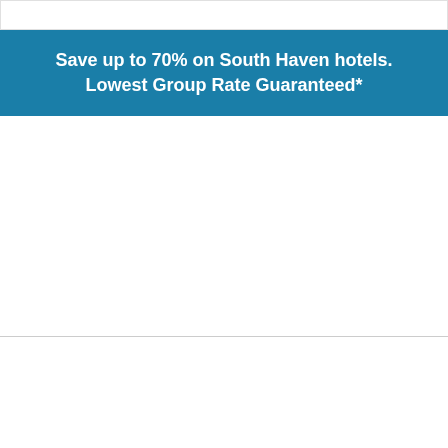Save up to 70% on South Haven hotels. Lowest Group Rate Guaranteed*